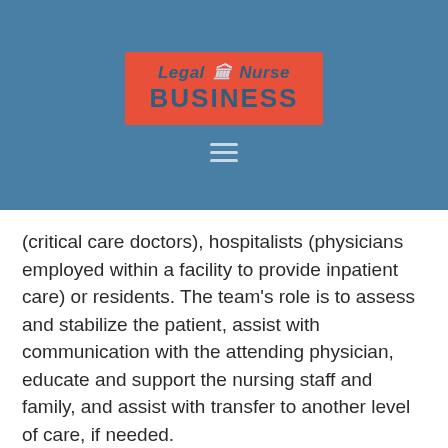[Figure (logo): Legal Nurse Business logo on red background with courthouse icon, set against a steel blue header bar with hamburger menu icon]
(critical care doctors), hospitalists (physicians employed within a facility to provide inpatient care) or residents. The team's role is to assess and stabilize the patient, assist with communication with the attending physician, educate and support the nursing staff and family, and assist with transfer to another level of care, if needed.
The rapid response team brings people with critical care expertise to a non-critical care